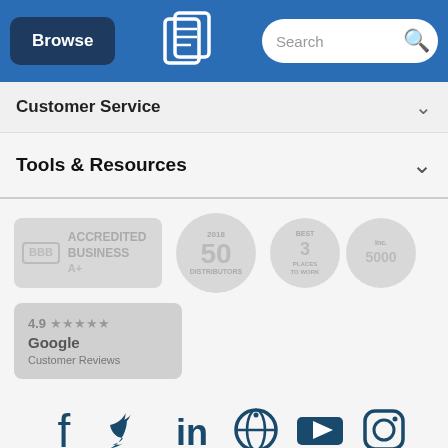Browse | Quality Logo Products | Search
Customer Service
Tools & Resources
[Figure (logo): BBB Accredited Business A+ badge, 2018 50 Distributors badge, Best Places to Work and Inc. 5000 badges, Google Customer Reviews 4.9 stars badge]
[Figure (logo): Social media icons: Facebook, Twitter, LinkedIn, Pinterest, YouTube, Instagram]
Sitemap | Privacy Policy
Copyright 2003 - 2022 Quality Logo Products, Inc.®, Registration No. TX7-524-201. All Rights Reserved.